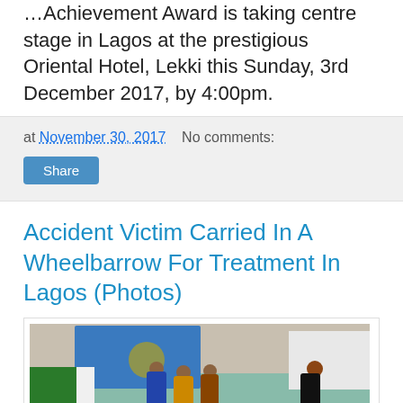Achievement Award is taking centre stage in Lagos at the prestigious Oriental Hotel, Lekki this Sunday, 3rd December 2017, by 4:00pm.
at November 30, 2017   No comments:
Share
Accident Victim Carried In A Wheelbarrow For Treatment In Lagos (Photos)
[Figure (photo): Street scene showing an accident victim being carried in a wheelbarrow amidst bystanders, with trucks and vehicles visible in the background on a Lagos street.]